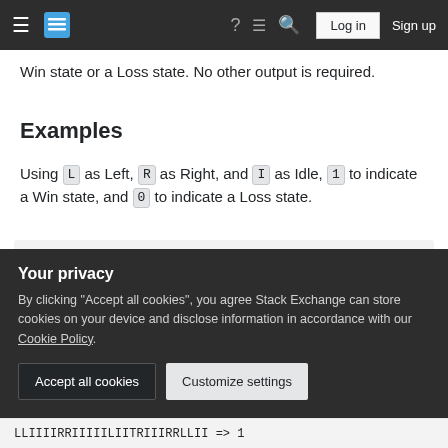Stack Exchange navigation bar with hamburger menu, logo, help, chat, search icons, Log in and Sign up buttons
Win state or a Loss state. No other output is required.
Examples
Using L as Left, R as Right, and I as Idle, 1 to indicate a Win state, and 0 to indicate a Loss state.
input => output
L => 1
LLLLLLLLLLLLL => 1
IIIIIIIIII => 1
Your privacy
By clicking "Accept all cookies", you agree Stack Exchange can store cookies on your device and disclose information in accordance with our Cookie Policy.
Accept all cookies   Customize settings
LLIIIIRRIIIIILIITRIIIRRLLII => 1